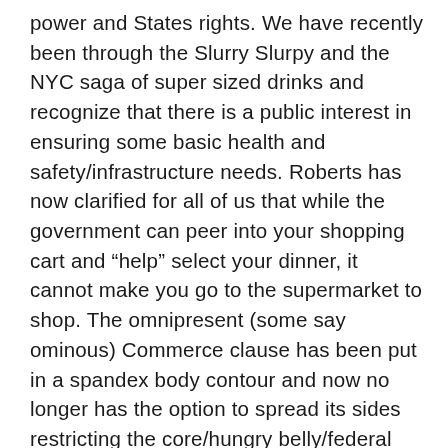power and States rights. We have recently been through the Slurry Slurpy and the NYC saga of super sized drinks and recognize that there is a public interest in ensuring some basic health and safety/infrastructure needs. Roberts has now clarified for all of us that while the government can peer into your shopping cart and “help” select your dinner, it cannot make you go to the supermarket to shop. The omnipresent (some say ominous) Commerce clause has been put in a spandex body contour and now no longer has the option to spread its sides restricting the core/hungry belly/federal power. However, if public interest deems that Americans must become more active and spend less time on their sofas cutting healthcare costs by reducing heart disease and diabetes, a tax on the “couch potato” is not inconceivable.